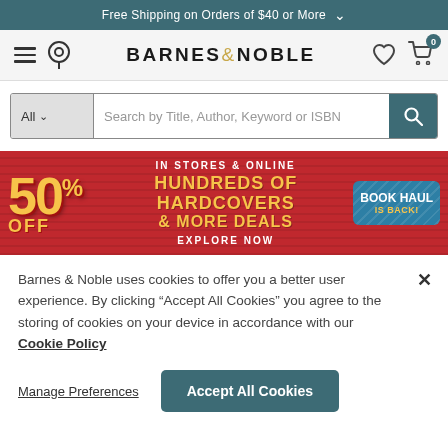Free Shipping on Orders of $40 or More
[Figure (logo): Barnes & Noble navigation bar with hamburger menu, location pin, B&N logo, heart/wishlist icon, and cart icon with badge 0]
[Figure (screenshot): Search bar with 'All' dropdown and placeholder text 'Search by Title, Author, Keyword or ISBN' and teal search button]
[Figure (infographic): Red promotional banner: 50% OFF HUNDREDS OF HARDCOVERS & MORE DEALS IN STORES & ONLINE EXPLORE NOW with BOOK HAUL IS BACK blue badge]
Barnes & Noble uses cookies to offer you a better user experience. By clicking "Accept All Cookies" you agree to the storing of cookies on your device in accordance with our Cookie Policy
Manage Preferences
Accept All Cookies